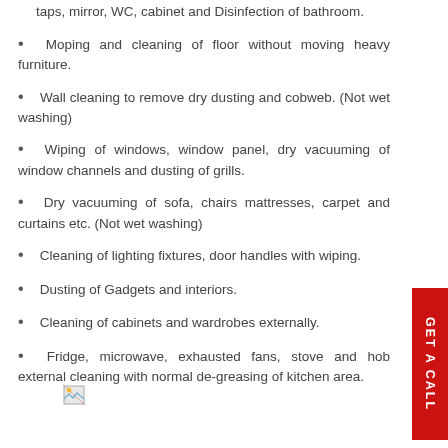taps, mirror, WC, cabinet and Disinfection of bathroom.
Moping and cleaning of floor without moving heavy furniture.
Wall cleaning to remove dry dusting and cobweb. (Not wet washing)
Wiping of windows, window panel, dry vacuuming of window channels and dusting of grills.
Dry vacuuming of sofa, chairs mattresses, carpet and curtains etc. (Not wet washing)
Cleaning of lighting fixtures, door handles with wiping.
Dusting of Gadgets and interiors.
Cleaning of cabinets and wardrobes externally.
Fridge, microwave, exhausted fans, stove and hob external cleaning with normal de-greasing of kitchen area.